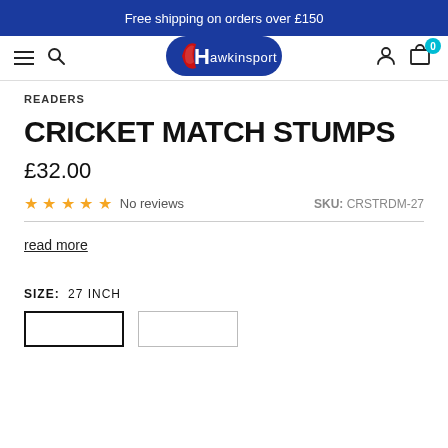Free shipping on orders over £150
[Figure (logo): Hawkinsport logo — blue rounded rectangle with red and white stylized cricket bat and brand name 'hawkinsport' in white text]
READERS
CRICKET MATCH STUMPS
£32.00
★ ★ ★ ★ ★ No reviews   SKU: CRSTRDM-27
read more
SIZE:  27 INCH